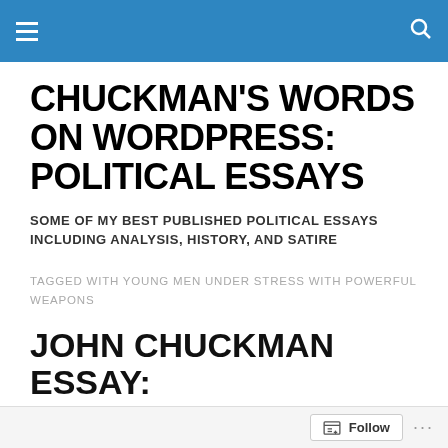Chuckman's Words on WordPress: Political Essays [navigation header]
CHUCKMAN'S WORDS ON WORDPRESS: POLITICAL ESSAYS
SOME OF MY BEST PUBLISHED POLITICAL ESSAYS INCLUDING ANALYSIS, HISTORY, AND SATIRE
TAGGED WITH YOUNG MEN UNDER STRESS WITH POWERFUL WEAPONS
JOHN CHUCKMAN ESSAY:
THIS IS WHAT WAR D...